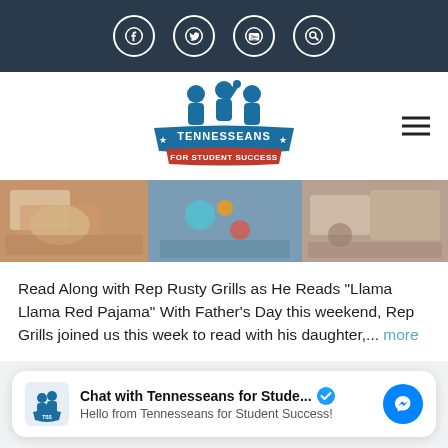Social media navigation bar with Facebook, Twitter, YouTube, and Search icons
[Figure (logo): Tennesseans for Student Success logo — blue silhouettes of children with raised hand, blue banner with 'TENNESSEANS FOR STUDENT SUCCESS' text]
[Figure (photo): Photo strip showing children doing arts and crafts activities at tables]
Read Along with Rep Rusty Grills as He Reads "Llama Llama Red Pajama" With Father's Day this weekend, Rep Grills joined us this week to read with his daughter,... more
Chat with Tennesseans for Stude... Hello from Tennesseans for Student Success!